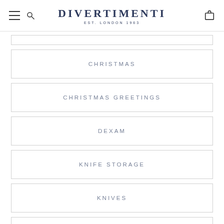DIVERTIMENTI EST. LONDON 1963
CHRISTMAS
CHRISTMAS GREETINGS
DEXAM
KNIFE STORAGE
KNIVES
STOCKING FILLERS